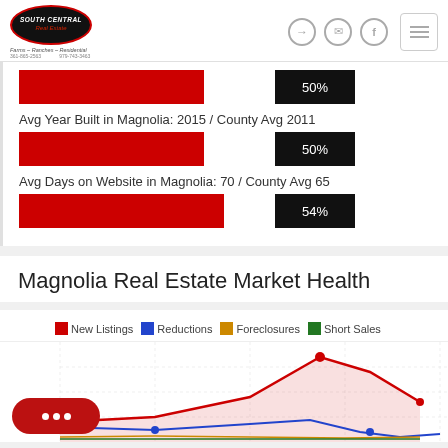South Central Real Estate — Farms – Ranches – Residential
50%
Avg Year Built in Magnolia: 2015 / County Avg 2011
50%
Avg Days on Website in Magnolia: 70 / County Avg 65
54%
Magnolia Real Estate Market Health
[Figure (line-chart): Line chart showing New Listings (red), Reductions (blue), Foreclosures (orange/gold), and Short Sales (green) over time. Partial view — chart is cropped at bottom of page.]